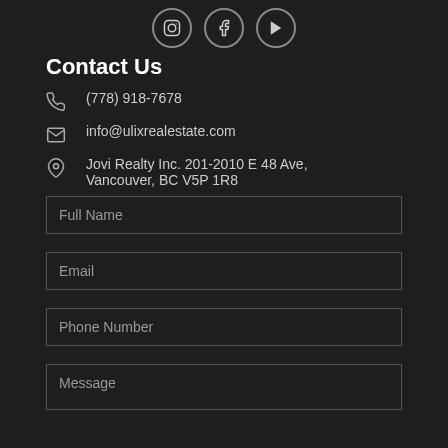[Figure (illustration): Three circular social media icons: Instagram, Facebook, YouTube]
Contact Us
(778) 918-7678
info@ulixrealestate.com
Jovi Realty Inc. 201-2010 E 48 Ave, Vancouver, BC V5P 1R8
Full Name
Email
Phone Number
Message